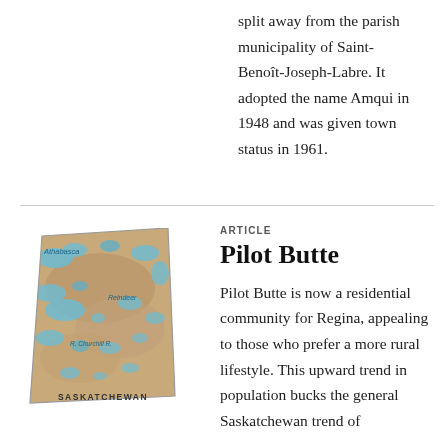split away from the parish municipality of Saint-Benoît-Joseph-Labre. It adopted the name Amqui in 1948 and was given town status in 1961.
[Figure (map): Map of Saskatchewan province showing geographical features, lakes, and labeled locations including Athabasca, Reindeer, R. Churchill, and the label SASKATCHEWAN at the bottom.]
ARTICLE
Pilot Butte
Pilot Butte is now a residential community for Regina, appealing to those who prefer a more rural lifestyle. This upward trend in population bucks the general Saskatchewan trend of